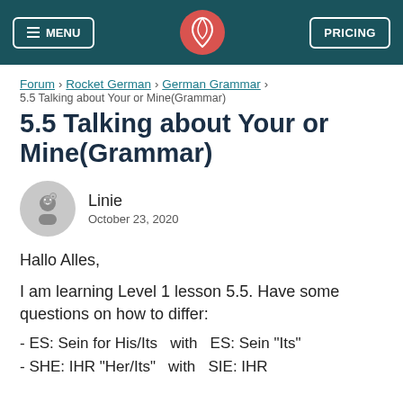MENU | [logo] | PRICING
Forum > Rocket German > German Grammar >
5.5 Talking about Your or Mine(Grammar)
5.5 Talking about Your or Mine(Grammar)
Linie
October 23, 2020
Hallo Alles,
I am learning Level 1 lesson 5.5.  Have some questions on how to differ:
- ES: Sein for His/Its  with  ES: Sein "Its"
- SHE: IHR "Her/Its"  with  SIE: IHR